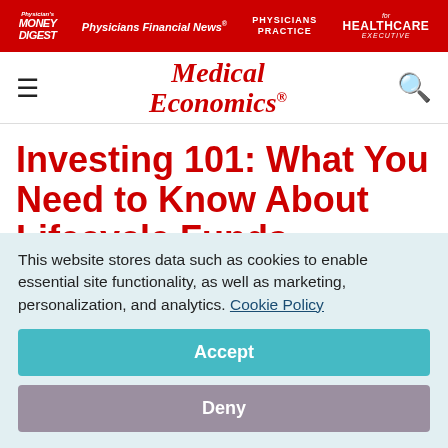Physician's Money Digest | Physicians Financial News | Physicians Practice | Healthcare Executive
[Figure (logo): Medical Economics logo in red italic serif font]
Investing 101: What You Need to Know About Lifecycle Funds
June 30, 2015
This website stores data such as cookies to enable essential site functionality, as well as marketing, personalization, and analytics. Cookie Policy
Accept
Deny